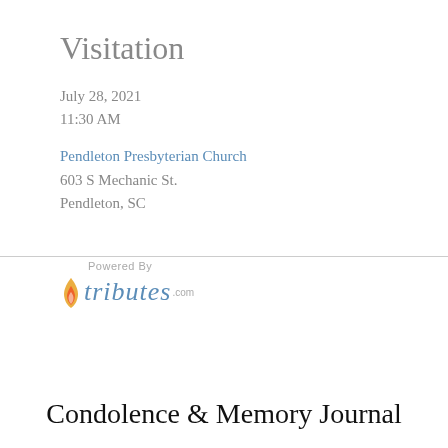Visitation
July 28, 2021
11:30 AM
Pendleton Presbyterian Church
603 S Mechanic St.
Pendleton, SC
[Figure (logo): Tributes.com logo with flame icon and 'Powered By' text above]
Condolence & Memory Journal